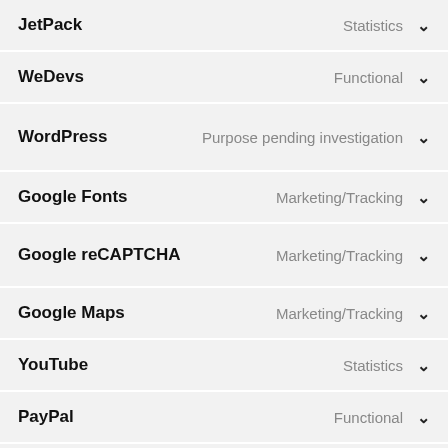JetPack — Statistics
WeDevs — Functional
WordPress — Purpose pending investigation
Google Fonts — Marketing/Tracking
Google reCAPTCHA — Marketing/Tracking
Google Maps — Marketing/Tracking
YouTube — Statistics
PayPal — Functional
Miscellaneous — Marketing/Tracking